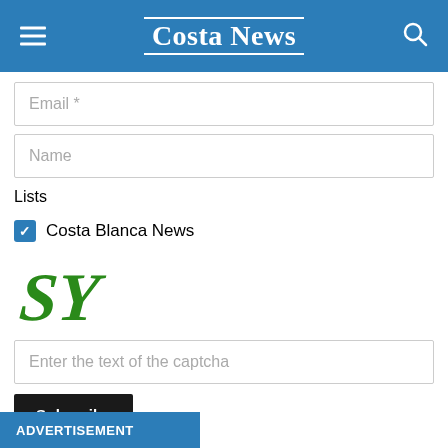Costa News
Email *
Name
Lists
Costa Blanca News
[Figure (other): CAPTCHA image showing stylized text 'SY' in green italic letters]
Enter the text of the captcha
Subscribe
ADVERTISEMENT